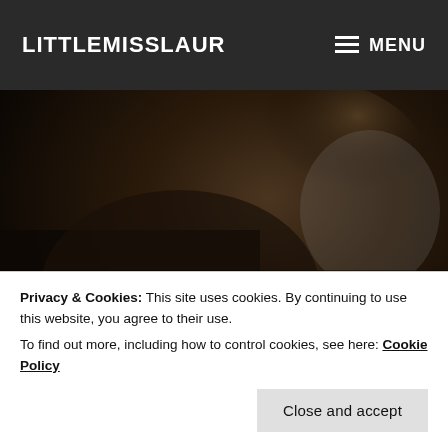LITTLEMISSLAUR | MENU
[Figure (photo): Dark blurry photo of Christmas items including what appears to be gift packaging and festive decorations in dark tones]
3 LAST MINUTE AFFORDABLE CHRISTMAS GIFT IDEAS –
Privacy & Cookies: This site uses cookies. By continuing to use this website, you agree to their use.
To find out more, including how to control cookies, see here: Cookie Policy
Close and accept